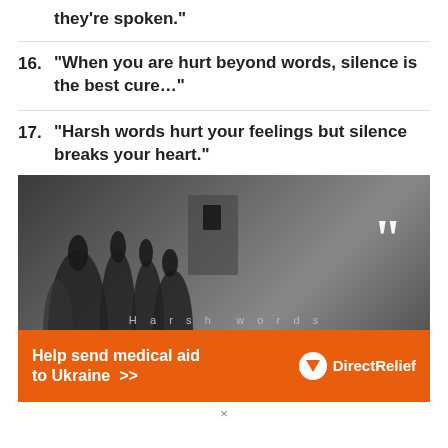"Some words stay in your head long after they're spoken."
16. "When you are hurt beyond words, silence is the best cure..."
17. "Harsh words hurt your feelings but silence breaks your heart."
[Figure (photo): Dark grayscale photo of hands raised upward with a large white quotation mark on the right side. Partial text visible at bottom.]
[Figure (infographic): Orange advertisement banner: 'Help send medical aid to Ukraine >>' with Direct Relief logo on the right.]
×